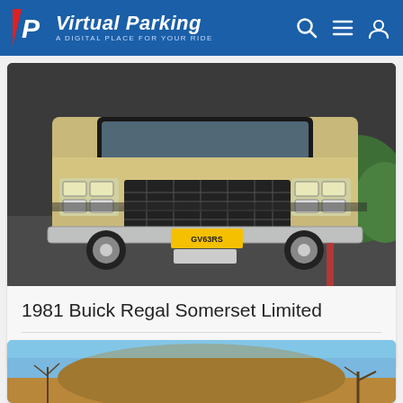Virtual Parking — A DIGITAL PLACE FOR YOUR RIDE
[Figure (photo): Front view of a 1981 Buick Regal Somerset Limited, beige/gold color with dark vinyl roof, chrome grille, yellow license plate reading GV63RS, parked on wet asphalt with green foliage in background]
1981 Buick Regal Somerset Limited
28 Apr, 2022
[Figure (photo): Outdoor photo showing a large dirt/sand mound under a blue sky with bare trees in background]